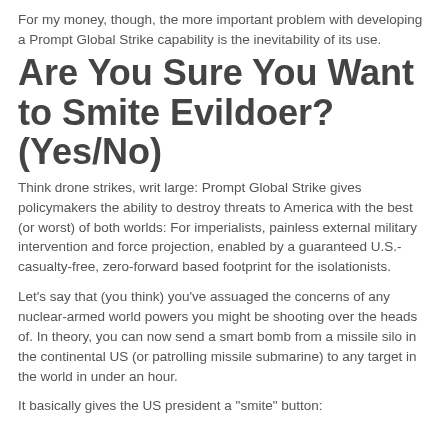For my money, though, the more important problem with developing a Prompt Global Strike capability is the inevitability of its use.
Are You Sure You Want to Smite Evildoer? (Yes/No)
Think drone strikes, writ large: Prompt Global Strike gives policymakers the ability to destroy threats to America with the best (or worst) of both worlds: For imperialists, painless external military intervention and force projection, enabled by a guaranteed U.S.-casualty-free, zero-forward based footprint for the isolationists.
Let's say that (you think) you've assuaged the concerns of any nuclear-armed world powers you might be shooting over the heads of. In theory, you can now send a smart bomb from a missile silo in the continental US (or patrolling missile submarine) to any target in the world in under an hour.
It basically gives the US president a "smite" button: